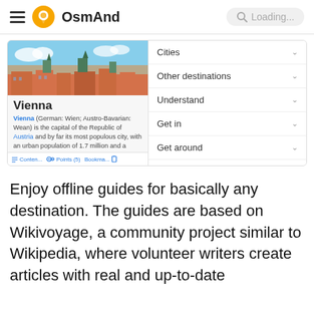OsmAnd — Loading...
[Figure (screenshot): OsmAnd app screenshot showing Vienna travel guide with city photo, menu items (Cities, Other destinations, Understand, Get in, Get around, Talk), and navigation toolbars]
Enjoy offline guides for basically any destination. The guides are based on Wikivoyage, a community project similar to Wikipedia, where volunteer writers create articles with real and up-to-date